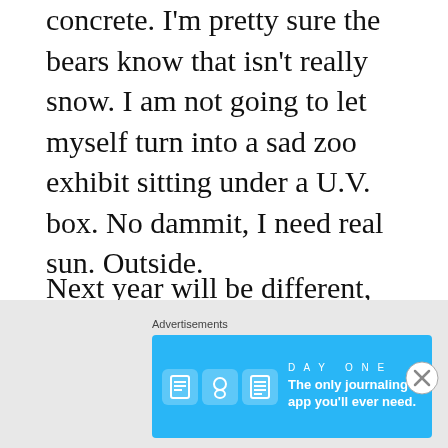concrete. I'm pretty sure the bears know that isn't really snow. I am not going to let myself turn into a sad zoo exhibit sitting under a U.V. box. No dammit, I need real sun. Outside.
Next year will be different, unless the global warming prophecies suddenly kick in and we experience the end of winter. Next year there will be several planned desert golf outings or tropical beach trips scheduled around the early winter period. Just enough to keep the batteries topped off and make to the late winter and bluebird ski days.
[Figure (other): Advertisement banner for Day One journaling app with blue background, app icons, and tagline 'The only journaling app you'll ever need.']